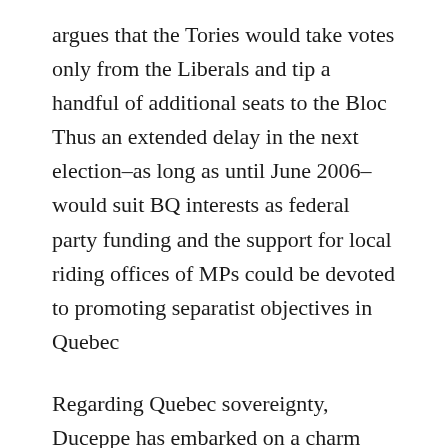argues that the Tories would take votes only from the Liberals and tip a handful of additional seats to the Bloc Thus an extended delay in the next election–as long as until June 2006–would suit BQ interests as federal party funding and the support for local riding offices of MPs could be devoted to promoting separatist objectives in Quebec
Regarding Quebec sovereignty, Duceppe has embarked on a charm offensive across Canada An early November speech in Toronto adroitly defanged a bumbling BQ MP's refusal to provide a Canadian flag to a Quebec war veterans group prior to Remembrance Day